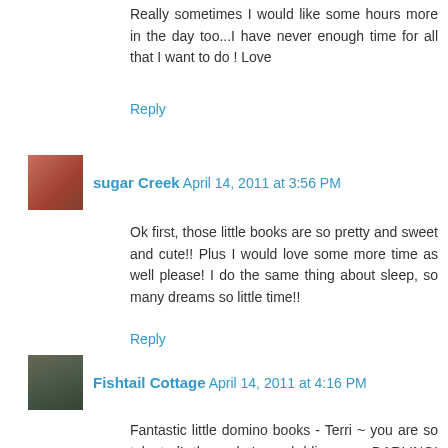Really sometimes I would like some hours more in the day too...I have never enough time for all that I want to do ! Love
Reply
sugar Creek  April 14, 2011 at 3:56 PM
Ok first, those little books are so pretty and sweet and cute!! Plus I would love some more time as well please! I do the same thing about sleep, so many dreams so little time!!
Reply
Fishtail Cottage  April 14, 2011 at 4:16 PM
Fantastic little domino books - Terri ~ you are so talented! the color's and bling are DARLING! Somedays for me, i wish the nighttime would hurry up and get here so that i can have an excuse to go to bed! Hope you have a sweet day! xoox, tracie